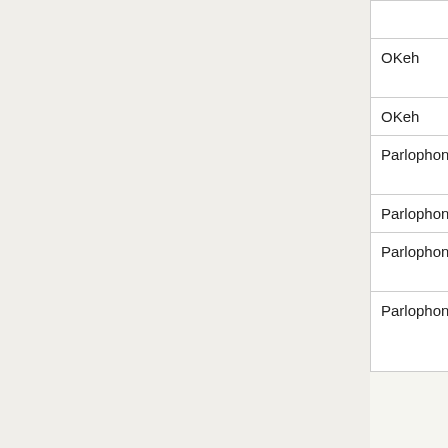| Label | Date/Description | Notes |
| --- | --- | --- |
| OKeh | electricals, probably American78 250N-8 |  |
| OKeh | 1941 - |  |
| Parlophone | 1925 - 1931, with W in a circle | [W.E. |
| Parlophone | 1925 - 1953 | Europ |
| Parlophone | 1931 - 1944, with © before matrix no., [Bc] | Blum |
| Parlophone | 1932 - 1949, with W in a circle or matrix prefix W (US COL/OKeh re- | 500-R |